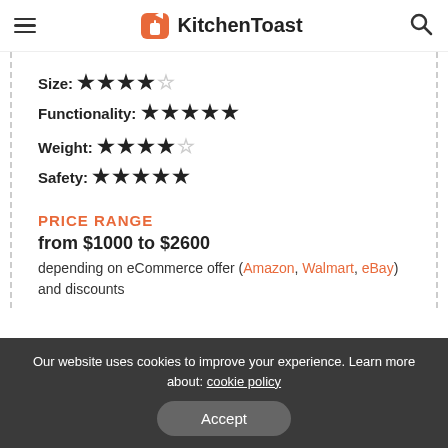KitchenToast
Size: ★★★★☆
Functionality: ★★★★★
Weight: ★★★★☆
Safety: ★★★★★
PRICE RANGE
from $1000 to $2600
depending on eCommerce offer (Amazon, Walmart, eBay) and discounts
Our website uses cookies to improve your experience. Learn more about: cookie policy